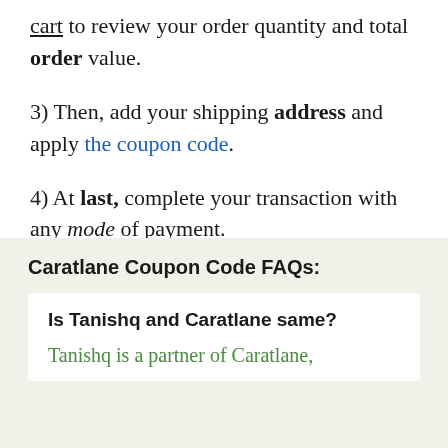cart to review your order quantity and total order value.
3) Then, add your shipping address and apply the coupon code.
4) At last, complete your transaction with any mode of payment.
Caratlane Coupon Code FAQs:
Is Tanishq and Caratlane same?
Tanishq is a partner of Caratlane,